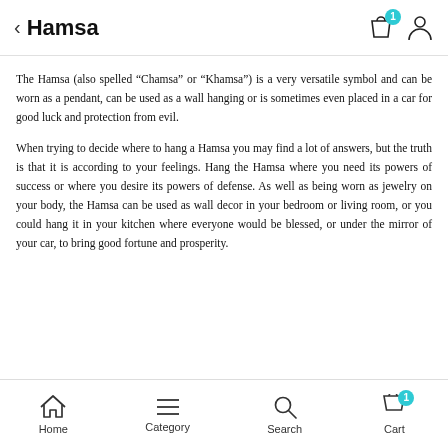Hamsa
The Hamsa (also spelled “Chamsa” or “Khamsa”) is a very versatile symbol and can be worn as a pendant, can be used as a wall hanging or is sometimes even placed in a car for good luck and protection from evil.
When trying to decide where to hang a Hamsa you may find a lot of answers, but the truth is that it is according to your feelings. Hang the Hamsa where you need its powers of success or where you desire its powers of defense. As well as being worn as jewelry on your body, the Hamsa can be used as wall decor in your bedroom or living room, or you could hang it in your kitchen where everyone would be blessed, or under the mirror of your car, to bring good fortune and prosperity.
Home  Category  Search  Cart